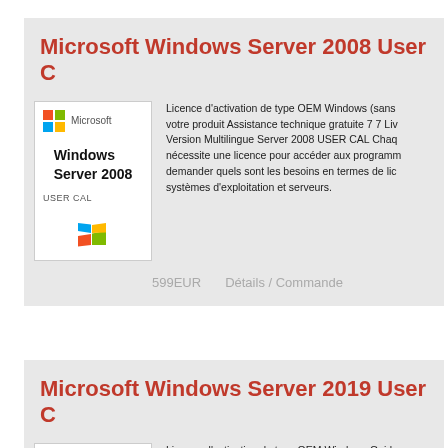Microsoft Windows Server 2008 User C
[Figure (photo): Microsoft Windows Server 2008 USER CAL product box image with Microsoft logo and Windows logo]
Licence d'activation de type OEM Windows (sans votre produit Assistance technique gratuite 7 7 Liv Version Multilingue Server 2008 USER CAL Chaq nécessite une licence pour accéder aux programm demander quels sont les besoins en termes de lic systèmes d'exploitation et serveurs.
599EUR
Détails / Commande
Microsoft Windows Server 2019 User C
[Figure (photo): Microsoft Windows Server 2019 USER CAL product box image with Microsoft logo]
Licence d'activation de type OEM Windows Guide Assistance technique gratuite et lien de télécharge 2019 USER CAL : Chaque utilisateur ou poste de